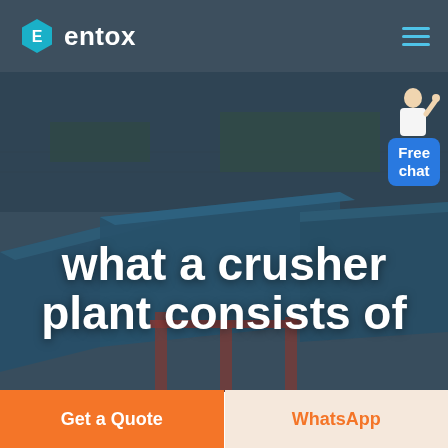[Figure (logo): Entox company logo with hexagon E icon and text 'entox' in white on dark blue-grey header background]
[Figure (photo): Aerial view of a large industrial crusher/manufacturing plant with blue-roofed warehouse buildings, used as hero background image]
what a crusher plant consists of
[Figure (illustration): Free chat widget showing a person in white shirt gesturing and a blue button labeled 'Free chat']
Get a Quote
WhatsApp